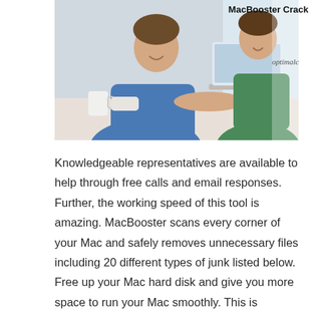[Figure (photo): Two people smiling and working on a laptop together at a table, with a coffee mug visible. Watermark text 'optimalcracks.com' appears on the image.]
MacBooster Crack
Knowledgeable representatives are available to help through free calls and email responses. Further, the working speed of this tool is amazing. MacBooster scans every corner of your Mac and safely removes unnecessary files including 20 different types of junk listed below. Free up your Mac hard disk and give you more space to run your Mac smoothly. This is particularly helpful for Mac users with smaller SSD hard disks. Mac gets slower and slower due to Mac disk issues. MacBooster